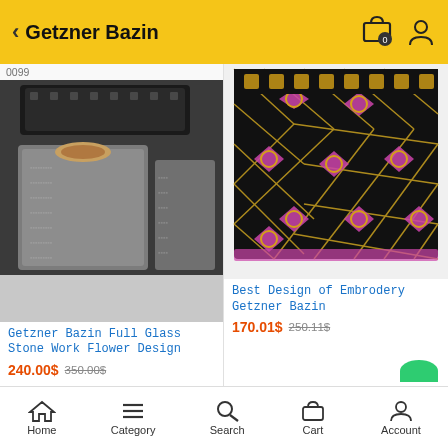Getzner Bazin
0099
[Figure (photo): Black and grey Getzner Bazin fabric set with floral embroidery and stone work, multiple pieces shown folded]
Getzner Bazin Full Glass Stone Work Flower Design
240.00$ 350.00$
[Figure (photo): Colorful embroidery Getzner Bazin fabric with pink and gold geometric diamond pattern on black background]
Best Design of Embrodery Getzner Bazin
170.01$ 250.11$
Home   Category   Search   Cart   Account